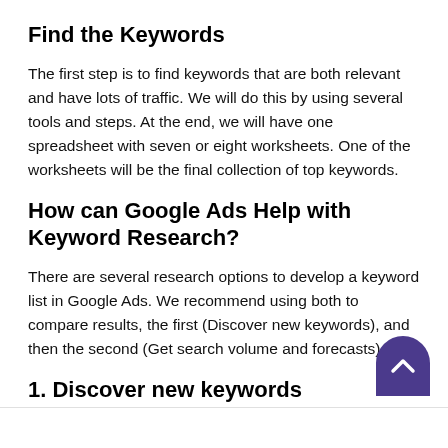Find the Keywords
The first step is to find keywords that are both relevant and have lots of traffic. We will do this by using several tools and steps. At the end, we will have one spreadsheet with seven or eight worksheets. One of the worksheets will be the final collection of top keywords.
How can Google Ads Help with Keyword Research?
There are several research options to develop a keyword list in Google Ads. We recommend using both to compare results, the first (Discover new keywords), and then the second (Get search volume and forecasts).
1. Discover new keywords
Open Google Ads | Tools | Keyword Planner and select “Discover new keywords”.
(see Figure 1 below)